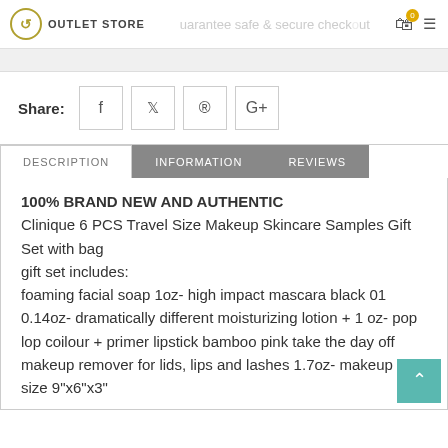OUTLET STORE — Guarantee safe & secure checkout
Share:
DESCRIPTION | INFORMATION | REVIEWS
100% BRAND NEW AND AUTHENTIC
Clinique 6 PCS Travel Size Makeup Skincare Samples Gift Set with bag
gift set includes:
foaming facial soap 1oz- high impact mascara black 01 0.14oz- dramatically different moisturizing lotion + 1 oz- pop lop coilour + primer lipstick bamboo pink take the day off makeup remover for lids, lips and lashes 1.7oz- makeup bag size 9"x6"x3"